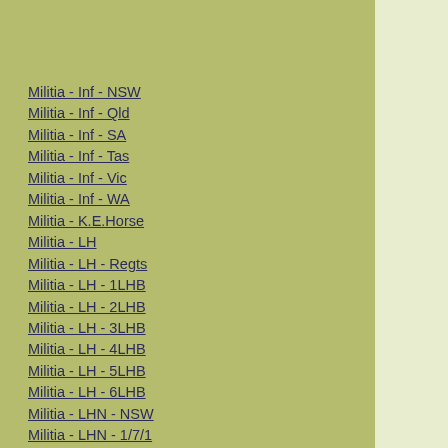Militia - Inf - NSW
Militia - Inf - Qld
Militia - Inf - SA
Militia - Inf - Tas
Militia - Inf - Vic
Militia - Inf - WA
Militia - K.E.Horse
Militia - LH
Militia - LH - Regts
Militia - LH - 1LHB
Militia - LH - 2LHB
Militia - LH - 3LHB
Militia - LH - 4LHB
Militia - LH - 5LHB
Militia - LH - 6LHB
Militia - LHN - NSW
Militia - LHN - 1/7/1
Militia - LHN - 2/9/6
Militia - LHN - 3/11/7
Militia - LHN - 4/6/16
Militia - LHN - 5/4/15
Militia - LHN - 6/5/12
Militia - LHN - 28
Militia - LHQ - Qld
Militia - LHQ - 13/2
Militia - LHQ - 14/3/11